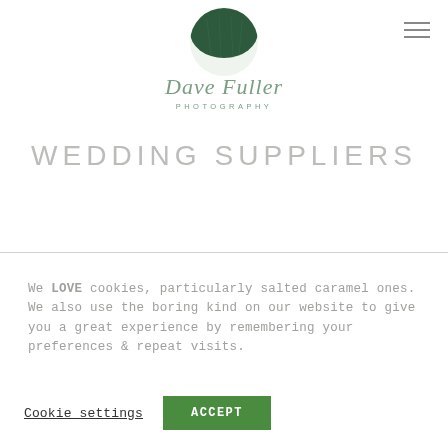[Figure (logo): Dave Fuller Photography logo: circular dark green semi-circle/moon graphic at top, cursive script 'Dave Fuller' in muted green, 'PHOTOGRAPHY' in small caps below]
WEDDING SUPPLIERS
We LOVE cookies, particularly salted caramel ones. We also use the boring kind on our website to give you a great experience by remembering your preferences & repeat visits.
Cookie settings   ACCEPT